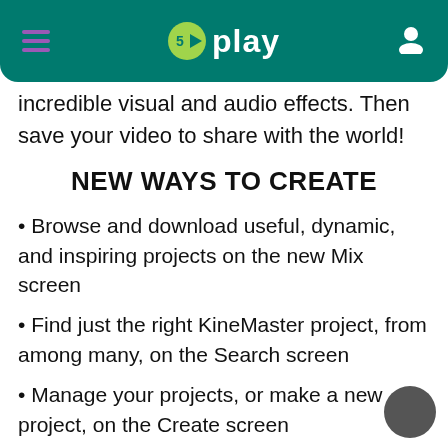5play — app navigation header with hamburger menu, logo, and user icon
incredible visual and audio effects. Then save your video to share with the world!
NEW WAYS TO CREATE
Browse and download useful, dynamic, and inspiring projects on the new Mix screen
Find just the right KineMaster project, from among many, on the Search screen
Manage your projects, or make a new project, on the Create screen
Save your favorite projects and manage your KineMaster account on the Me screen